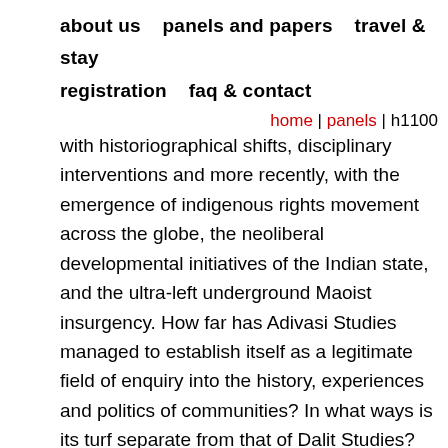about us   panels and papers   travel & stay   registration   faq & contact
home | panels | h1100
with historiographical shifts, disciplinary interventions and more recently, with the emergence of indigenous rights movement across the globe, the neoliberal developmental initiatives of the Indian state, and the ultra-left underground Maoist insurgency. How far has Adivasi Studies managed to establish itself as a legitimate field of enquiry into the history, experiences and politics of communities? In what ways is its turf separate from that of Dalit Studies? How do we problematize the term ‘adivasi’? How do we understand stories of dispossession, deforestation and resistance? Can the story of the Indian adivasi feed into global debates of indigeniety and indigenousness particularly in the contexts of Asia, Africa, Latin America and Australia?